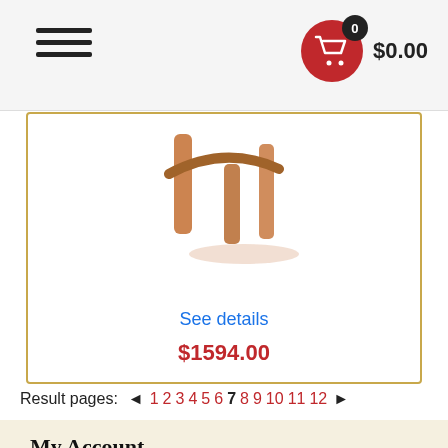0  $0.00
[Figure (photo): Partial view of a wooden furniture item (table/stool legs) shown from below, cropped at top]
See details
$1594.00
Result pages: ◄ 1 2 3 4 5 6 7 8 9 10 11 12 ►
My Account
Wish list
Orders history
Checkout